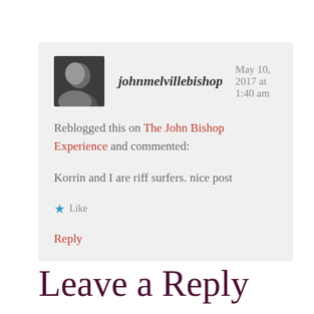johnmelvillebishop  May 10, 2017 at 1:40 am
Reblogged this on The John Bishop Experience and commented:
Korrin and I are riff surfers. nice post
Like
Reply
Leave a Reply